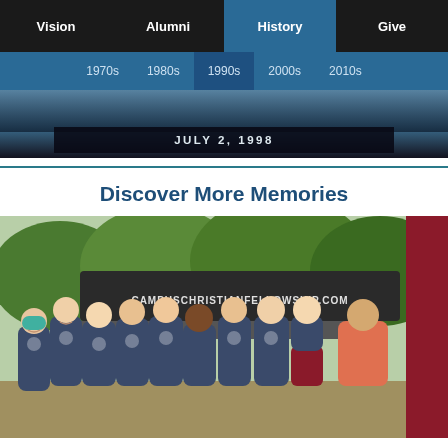Vision | Alumni | History | Give
1970s | 1980s | 1990s | 2000s | 2010s
JULY 2, 1998
Discover More Memories
[Figure (photo): Group photo of approximately 10 young people wearing matching navy Campus Christian Fellowship t-shirts with a rainbow/mountain logo, standing in front of a tent/canopy that reads CAMPUSCHRISTIANFELLOWSHIP.COM, outdoors on a sunny day. One person on the right wears a salmon/orange shirt. There is a red panel on the far right edge.]